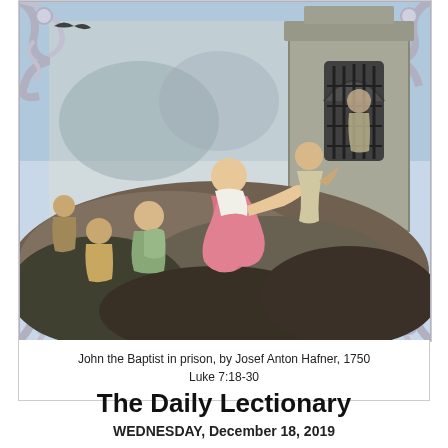[Figure (illustration): Baroque fresco painting depicting John the Baptist in prison, by Josef Anton Hafner, 1750. Scene shows multiple robed figures on rocky terrain, with a barred prison window on the right side of the composition, framed in ornate Rococo style with decorative scrollwork border.]
John the Baptist in prison, by Josef Anton Hafner, 1750
Luke 7:18-30
The Daily Lectionary
WEDNESDAY, December 18, 2019